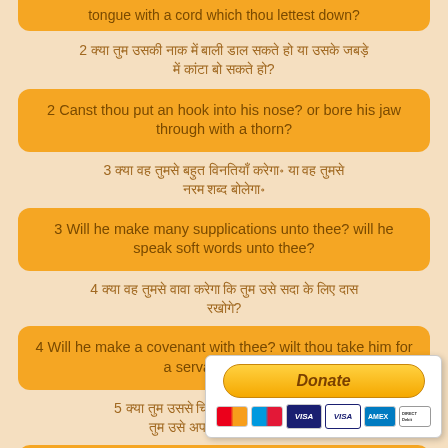tongue with a cord which thou lettest down?
2 [Hindi text - verse 2]
2 Canst thou put an hook into his nose? or bore his jaw through with a thorn?
3 [Hindi text - verse 3]
3 Will he make many supplications unto thee? will he speak soft words unto thee?
4 [Hindi text - verse 4]
4 Will he make a covenant with thee? wilt thou take him for a servant for ever?
5 [Hindi text - verse 5]
5 Wilt thou play with him as with a bird? or wilt thou